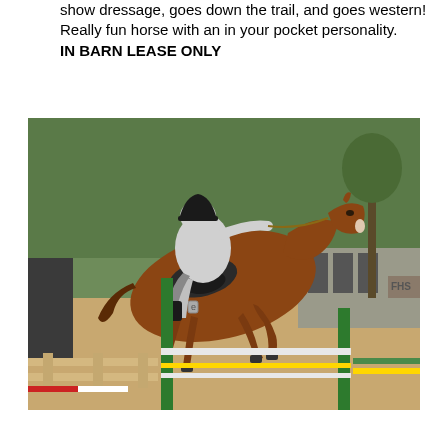show dressage, goes down the trail, and goes western! Really fun horse with an in your pocket personality.
IN BARN LEASE ONLY
[Figure (photo): A chestnut horse jumping over a fence with a rider in a grey jacket and black helmet at an equestrian arena. Green jump standards visible, sandy footing, trees in background.]